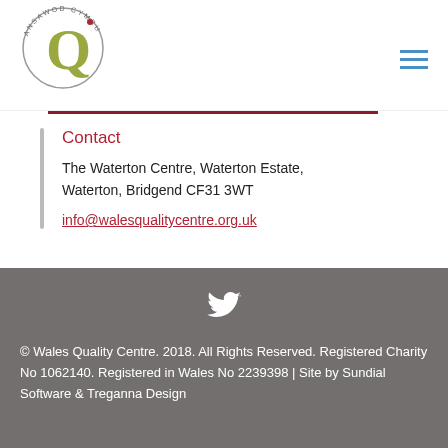[Figure (logo): Wales Quality Centre logo — circular badge with 'Q' in green and 'ANSAWOD CYMRU' text around it]
[Figure (other): Hamburger menu icon — three horizontal blue lines]
Contact
The Waterton Centre, Waterton Estate, Waterton, Bridgend CF31 3WT
info@walesqualitycentre.org.uk
© Wales Quality Centre. 2018. All Rights Reserved. Registered Charity No 1062140. Registered in Wales No 2239398 | Site by Sundial Software & Treganna Design